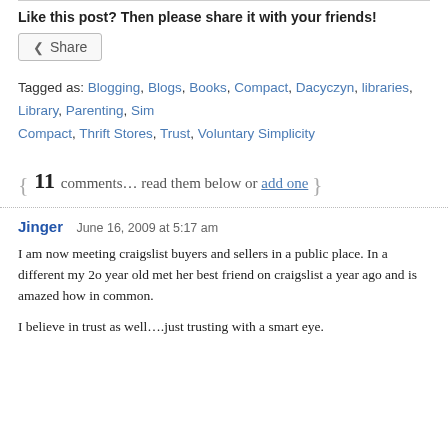Like this post? Then please share it with your friends!
Share
Tagged as: Blogging, Blogs, Books, Compact, Dacyczyn, libraries, Library, Parenting, Sim Compact, Thrift Stores, Trust, Voluntary Simplicity
{ 11 comments… read them below or add one }
Jinger   June 16, 2009 at 5:17 am
I am now meeting craigslist buyers and sellers in a public place. In a different my 2o year old met her best friend on craigslist a year ago and is amazed how in common.

I believe in trust as well….just trusting with a smart eye.